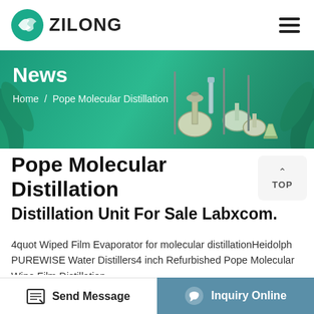ZILONG
[Figure (screenshot): Green banner with lab distillation equipment imagery, showing 'News' heading and breadcrumb 'Home / Pope Molecular Distillation']
Pope Molecular Distillation
Distillation Unit For Sale Labxcom.
4quot Wiped Film Evaporator for molecular distillationHeidolph PUREWISE Water Distillers4 inch Refurbished Pope Molecular Wipe Film Distillation
Send Message   Inquiry Online